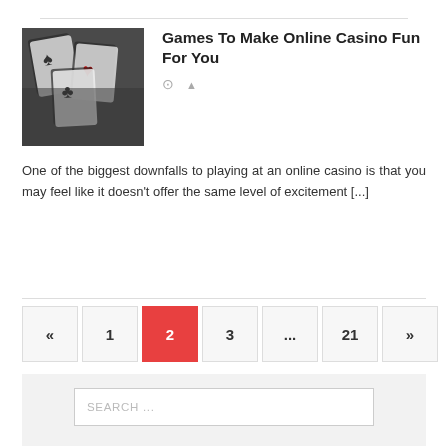Games To Make Online Casino Fun For You
One of the biggest downfalls to playing at an online casino is that you may feel like it doesn't offer the same level of excitement [...]
« 1 2 3 ... 21 »
SEARCH ...
NAVIGATION
Privacy Policy
Disclaimer Page